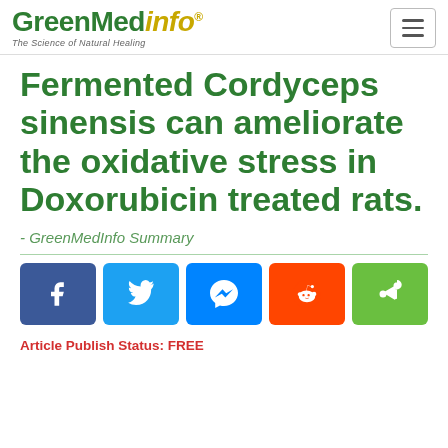GreenMedInfo - The Science of Natural Healing
Fermented Cordyceps sinensis can ameliorate the oxidative stress in Doxorubicin treated rats.
- GreenMedInfo Summary
Article Publish Status: FREE